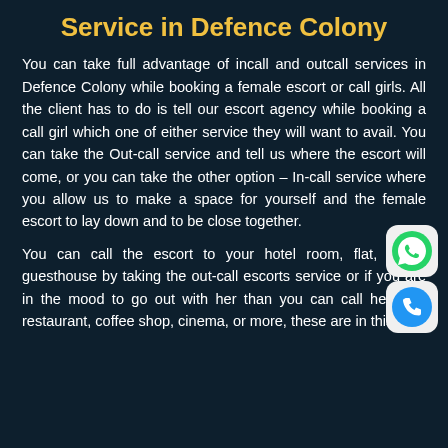Service in Defence Colony
You can take full advantage of incall and outcall services in Defence Colony while booking a female escort or call girls. All the client has to do is tell our escort agency while booking a call girl which one of either service they will want to avail. You can take the Out-call service and tell us where the escort will come, or you can take the other option – In-call service where you allow us to make a space for yourself and the female escort to lay down and to be close together.
[Figure (illustration): WhatsApp icon (green circle with phone handset) overlaid on rounded white square]
[Figure (illustration): Phone call icon (blue circle with phone handset) overlaid on rounded white square]
You can call the escort to your hotel room, flat, office, guesthouse by taking the out-call escorts service or if you are in the mood to go out with her than you can call her to a restaurant, coffee shop, cinema, or more, these are in this